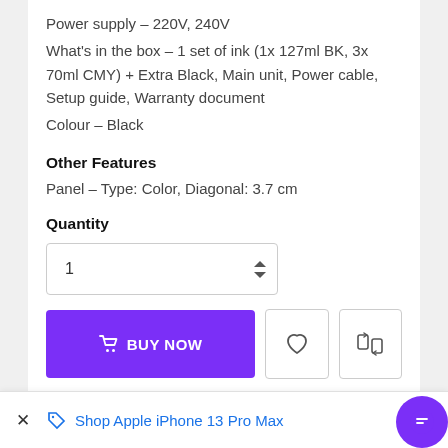Power supply – 220V, 240V
What's in the box – 1 set of ink (1x 127ml BK, 3x 70ml CMY) + Extra Black, Main unit, Power cable, Setup guide, Warranty document
Colour – Black
Other Features
Panel – Type: Color, Diagonal: 3.7 cm
Quantity
[Figure (other): Quantity number input spinner showing value 1 with up/down arrows]
[Figure (other): BUY NOW button in purple, heart icon button, and compare icon button]
Shop Apple iPhone 13 Pro Max